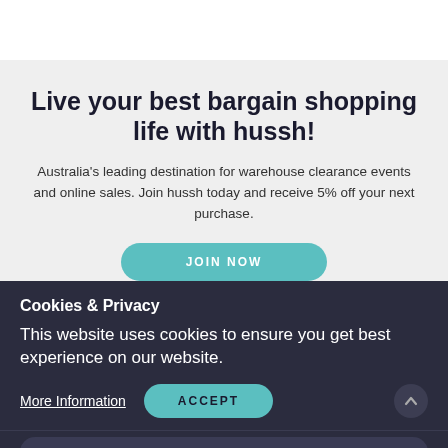Live your best bargain shopping life with hussh!
Australia's leading destination for warehouse clearance events and online sales. Join hussh today and receive 5% off your next purchase.
JOIN NOW
Cookies & Privacy
This website uses cookies to ensure you get best experience on our website.
More Information
ACCEPT
FINAL SALE
Explore our store